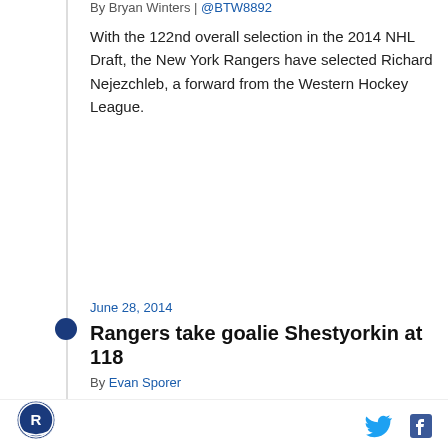By Bryan Winters | @BTW8892
With the 122nd overall selection in the 2014 NHL Draft, the New York Rangers have selected Richard Nejezchleb, a forward from the Western Hockey League.
June 28, 2014
Rangers take goalie Shestyorkin at 118
By Evan Sporer
The Rangers added some size on the blue line with fourth round pick and defensive prospect Ryan Mantha.
June 28, 2014
Ryan Mantha Selected At 104th Overall...